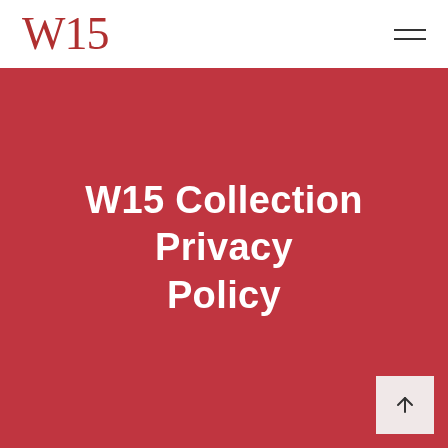W15
W15 Collection Privacy Policy